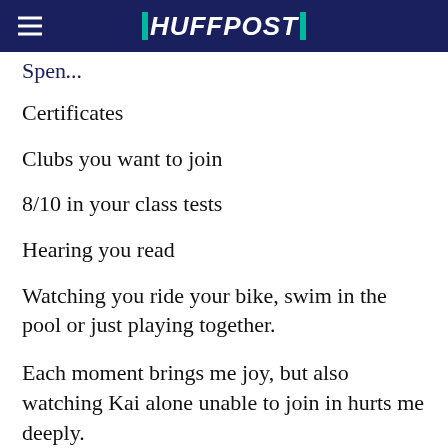HUFFPOST
Spen...
Certificates
Clubs you want to join
8/10 in your class tests
Hearing you read
Watching you ride your bike, swim in the pool or just playing together.
Each moment brings me joy, but also watching Kai alone unable to join in hurts me deeply.